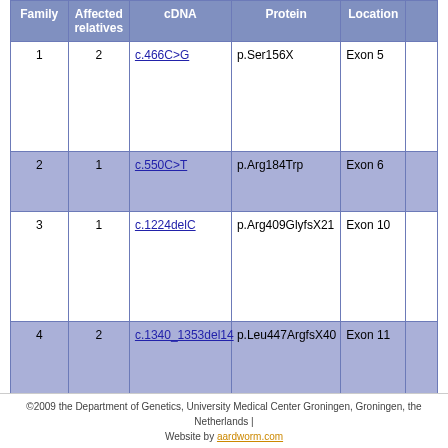| Family | Affected relatives | cDNA | Protein | Location |  |
| --- | --- | --- | --- | --- | --- |
| 1 | 2 | c.466C>G | p.Ser156X | Exon 5 |  |
| 2 | 1 | c.550C>T | p.Arg184Trp | Exon 6 |  |
| 3 | 1 | c.1224delC | p.Arg409GlyfsX21 | Exon 10 |  |
| 4 | 2 | c.1340_1353del14 | p.Leu447ArgfsX40 | Exon 11 |  |
©2009 the Department of Genetics, University Medical Center Groningen, Groningen, the Netherlands | Website by aardworm.com